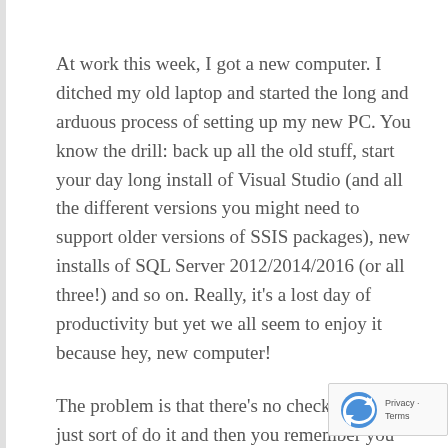At work this week, I got a new computer. I ditched my old laptop and started the long and arduous process of setting up my new PC. You know the drill: back up all the old stuff, start your day long install of Visual Studio (and all the different versions you might need to support older versions of SSIS packages), new installs of SQL Server 2012/2014/2016 (or all three!) and so on. Really, it's a lost day of productivity but yet we all seem to enjoy it because hey, new computer!
The problem is that there's no checklist; you just sort of do it and then you remember you forget something and stop what you're doing to fix it. One particularly vexing thing that gets set on every new computer (whether it be a laptop,